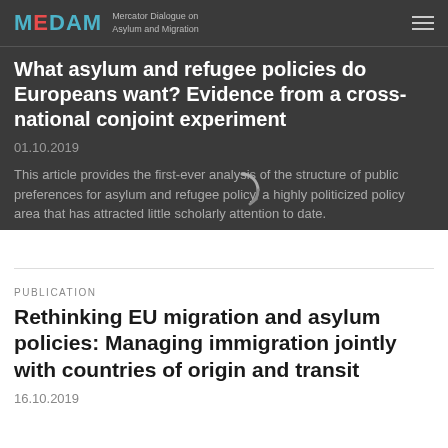MEDAM — Mercator Dialogue on Asylum and Migration
What asylum and refugee policies do Europeans want? Evidence from a cross-national conjoint experiment
01.10.2019
This article provides the first-ever analysis of the structure of public preferences for asylum and refugee policy, a highly politicized policy area that has attracted little scholarly attention to date.
PUBLICATION
Rethinking EU migration and asylum policies: Managing immigration jointly with countries of origin and transit
16.10.2019